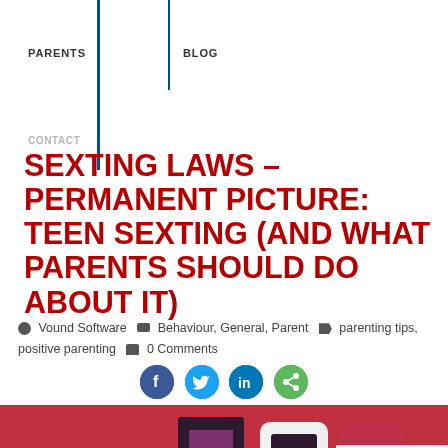PARENTS | BLOG
CONTACT
SEXTING LAWS – PERMANENT PICTURE: TEEN SEXTING (AND WHAT PARENTS SHOULD DO ABOUT IT)
Vound Software  Behaviour, General, Parent  parenting tips, positive parenting  0 Comments
[Figure (screenshot): Social media share icons: Facebook, Twitter, LinkedIn, and general share button]
[Figure (illustration): Hero image with red background showing a chat bubble with @#&:):P*, a framed purple picture, a white phone frame with a red cross icon, and a partial red phone frame. reCAPTCHA badge visible in bottom right.]